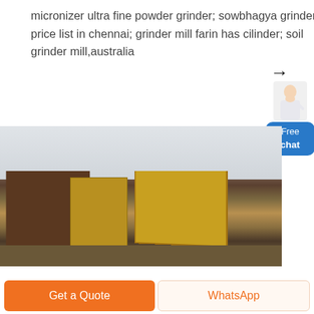micronizer ultra fine powder grinder; sowbhagya grinder price list in chennai; grinder mill farin has cilinder; soil grinder mill,australia
[Figure (photo): Photograph of industrial grinding/crushing machines (yellow and dark brown) outdoors at what appears to be a scrapyard or industrial site, with a hazy sky in the background.]
Get a Quote
WhatsApp